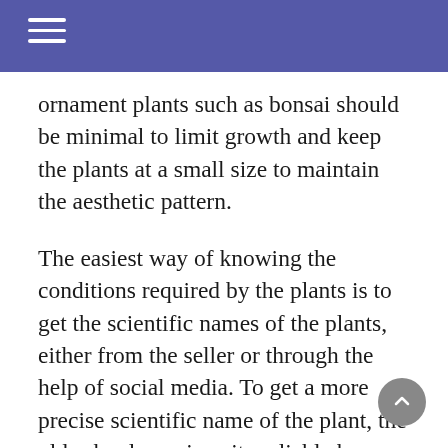ornament plants such as bonsai should be minimal to limit growth and keep the plants at a small size to maintain the aesthetic pattern.
The easiest way of knowing the conditions required by the plants is to get the scientific names of the plants, either from the seller or through the help of social media. To get a more precise scientific name of the plant, the old school way is quite reliable by matching the leaves, flowers, and other morphological characteristics with botanical books. There